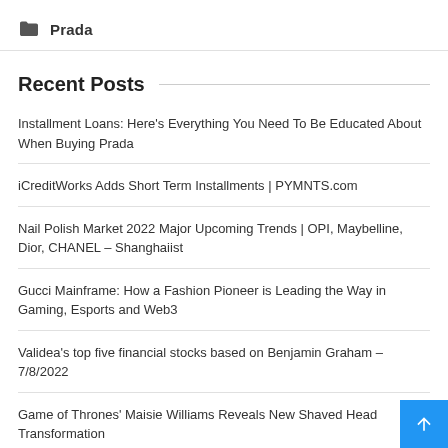Prada
Recent Posts
Installment Loans: Here's Everything You Need To Be Educated About When Buying Prada
iCreditWorks Adds Short Term Installments | PYMNTS.com
Nail Polish Market 2022 Major Upcoming Trends | OPI, Maybelline, Dior, CHANEL – Shanghaiist
Gucci Mainframe: How a Fashion Pioneer is Leading the Way in Gaming, Esports and Web3
Validea's top five financial stocks based on Benjamin Graham – 7/8/2022
Game of Thrones' Maisie Williams Reveals New Shaved Head Transformation